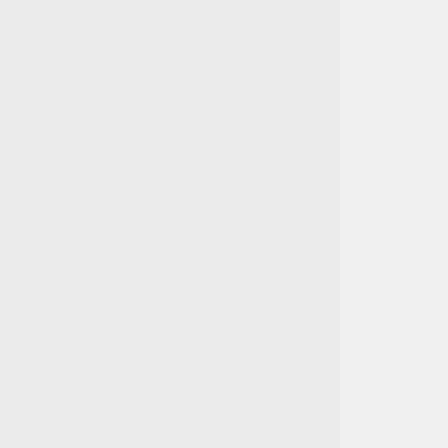[Figure (flowchart): Vertical flowchart/tree diagram showing four region nodes: Region 1 (I/O ports at 03f4, size=1), Region 2 (I/O ports at 0170, size=8), Region 3 (I/O ports at 0374, size=1), Region 4 (I/O ports at f900, size=16). Each node is a rounded rectangle with a blue background, connected by a vertical line with plus (+) symbols.]